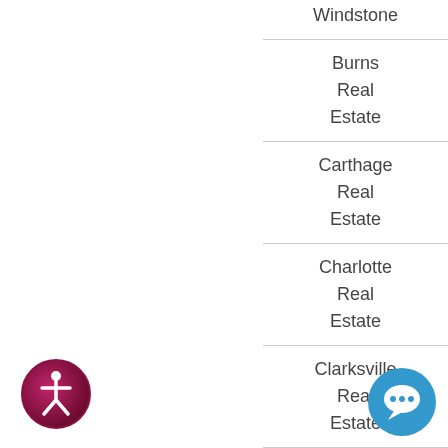Windstone
Burns Real Estate
Carthage Real Estate
Charlotte Real Estate
Clarksville Real Estate
College Grove Real Estate
[Figure (logo): Accessibility icon - circular badge with person figure, dark pink/maroon gradient]
[Figure (logo): Chat/support button - blue circular icon with speech bubble]